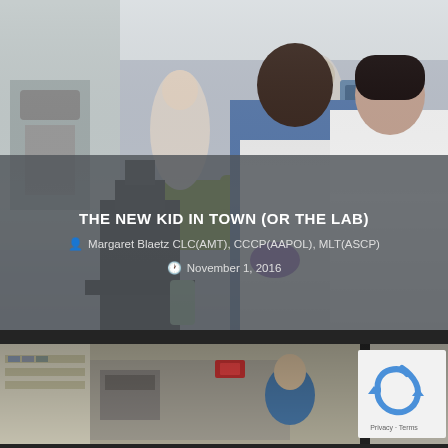[Figure (photo): Lab photo showing two medical professionals in white coats examining samples; background shows more lab workers and equipment]
THE NEW KID IN TOWN (OR THE LAB)
Margaret Blaetz CLC(AMT), CCCP(AAPOL), MLT(ASCP)
November 1, 2016
[Figure (photo): Laboratory interior photo showing lab benches, equipment, and a lab worker in blue scrubs; reCAPTCHA badge visible in bottom right corner]